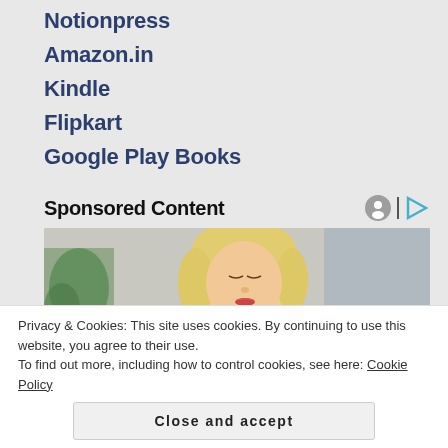Notionpress
Amazon.in
Kindle
Flipkart
Google Play Books
Sponsored Content
[Figure (photo): Woman with short blonde hair wearing a yellow knit sweater, looking downward, in a home setting with plants in background]
Privacy & Cookies: This site uses cookies. By continuing to use this website, you agree to their use.
To find out more, including how to control cookies, see here: Cookie Policy
Close and accept